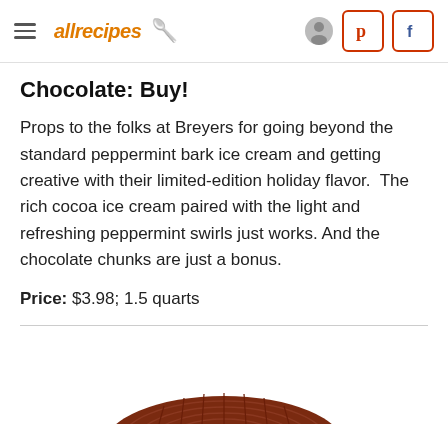allrecipes
Chocolate: Buy!
Props to the folks at Breyers for going beyond the standard peppermint bark ice cream and getting creative with their limited-edition holiday flavor.  The rich cocoa ice cream paired with the light and refreshing peppermint swirls just works. And the chocolate chunks are just a bonus.
Price: $3.98; 1.5 quarts
[Figure (photo): Bottom portion of a chocolate ice cream container lid, dark brown/reddish color, partially cropped at the bottom of the page.]